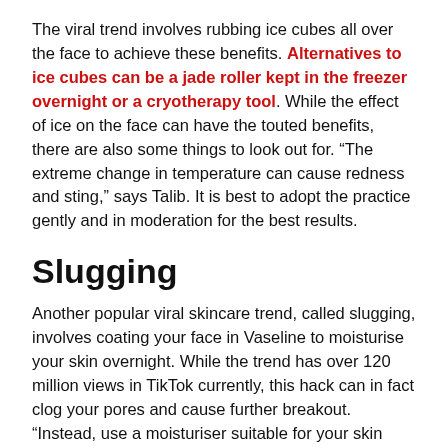The viral trend involves rubbing ice cubes all over the face to achieve these benefits. Alternatives to ice cubes can be a jade roller kept in the freezer overnight or a cryotherapy tool. While the effect of ice on the face can have the touted benefits, there are also some things to look out for. “The extreme change in temperature can cause redness and sting,” says Talib. It is best to adopt the practice gently and in moderation for the best results.
Slugging
Another popular viral skincare trend, called slugging, involves coating your face in Vaseline to moisturise your skin overnight. While the trend has over 120 million views in TikTok currently, this hack can in fact clog your pores and cause further breakout. “Instead, use a moisturiser suitable for your skin type overnight,” says Waleed.
Microneedling